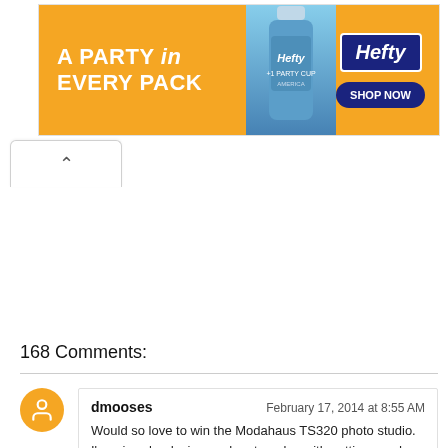[Figure (screenshot): Hefty brand advertisement banner with orange background. Text reads 'A PARTY in EVERY PACK'. Shows a blue Hefty cup bottle in center and Hefty logo with 'SHOP NOW' button on the right.]
168 Comments:
dmooses   February 17, 2014 at 8:55 AM
Would so love to win the Modahaus TS320 photo studio. I'm a jewelry designer who struggles with getting good photo of